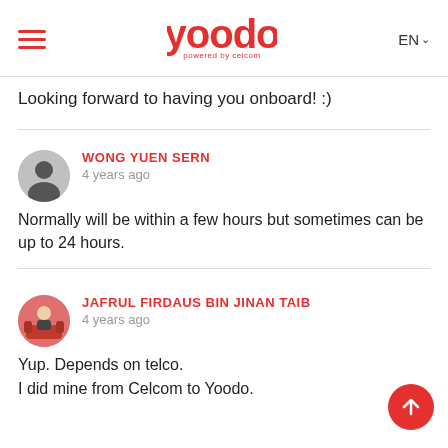Yoodo powered by celcom | EN
Looking forward to having you onboard! :)
WONG YUEN SERN
4 years ago
Normally will be within a few hours but sometimes can be up to 24 hours.
JAFRUL FIRDAUS BIN JINAN TAIB
4 years ago
Yup. Depends on telco.
I did mine from Celcom to Yoodo.